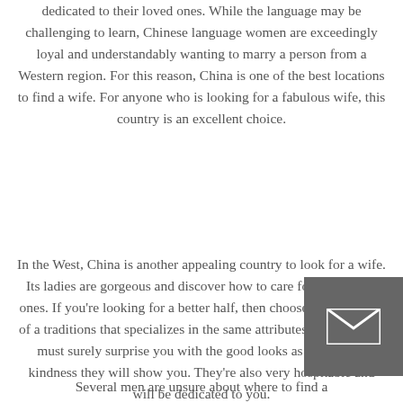dedicated to their loved ones. While the language may be challenging to learn, Chinese language women are exceedingly loyal and understandably wanting to marry a person from a Western region. For this reason, China is one of the best locations to find a wife. For anyone who is looking for a fabulous wife, this country is an excellent choice.
In the West, China is another appealing country to look for a wife. Its ladies are gorgeous and discover how to care for their loved ones. If you're looking for a better half, then choose a woman out of a traditions that specializes in the same attributes you do. They must surely surprise you with the good looks as well as the kindness they will show you. They're also very hospitable and will be dedicated to you.
Several men are unsure about where to find a